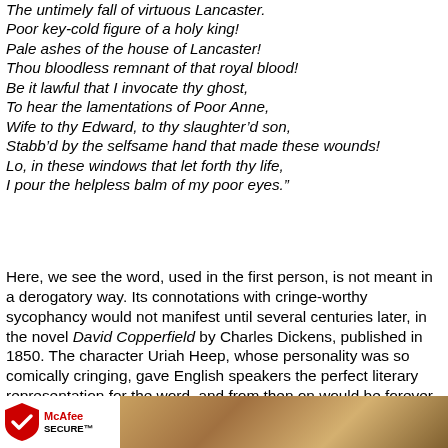The untimely fall of virtuous Lancaster.
Poor key-cold figure of a holy king!
Pale ashes of the house of Lancaster!
Thou bloodless remnant of that royal blood!
Be it lawful that I invocate thy ghost,
To hear the lamentations of Poor Anne,
Wife to thy Edward, to thy slaughter'd son,
Stabb'd by the selfsame hand that made these wounds!
Lo, in these windows that let forth thy life,
I pour the helpless balm of my poor eyes.”
Here, we see the word, used in the first person, is not meant in a derogatory way. Its connotations with cringe-worthy sycophancy would not manifest until several centuries later, in the novel David Copperfield by Charles Dickens, published in 1850. The character Uriah Heep, whose personality was so comically cringing, gave English speakers the perfect literary representation for the word, and from then on would be forever synonymous with this type of spineless behaviour.